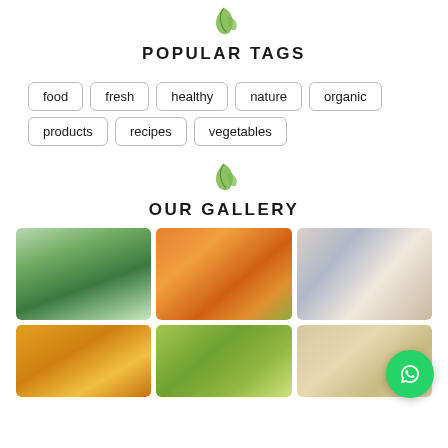[Figure (illustration): Green leaf/plant icon decorative element]
POPULAR TAGS
food
fresh
healthy
nature
organic
products
recipes
vegetables
[Figure (illustration): Green leaf/plant icon decorative element]
OUR GALLERY
[Figure (photo): Person squeezing lemon into a green smoothie in a glass jar]
[Figure (photo): Close-up of fresh orange carrots in a basket]
[Figure (photo): Father and daughter cooking together in kitchen, cutting vegetables]
[Figure (photo): Orange soup or puree in a bowl with herbs]
[Figure (photo): Hands cutting green onions on a cutting board]
[Figure (photo): Eggs on a cloth or wooden surface]